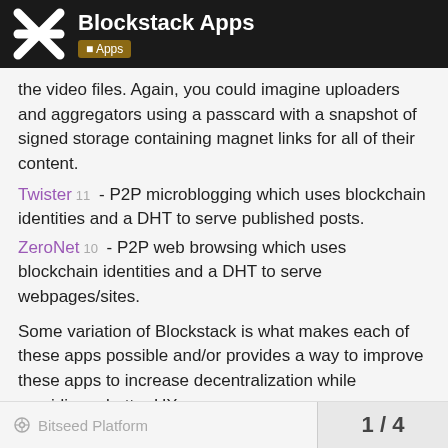Blockstack Apps — Apps
the video files. Again, you could imagine uploaders and aggregators using a passcard with a snapshot of signed storage containing magnet links for all of their content.
Twister 11 - P2P microblogging which uses blockchain identities and a DHT to serve published posts.
ZeroNet 10 - P2P web browsing which uses blockchain identities and a DHT to serve webpages/sites.
Some variation of Blockstack is what makes each of these apps possible and/or provides a way to improve these apps to increase decentralization while providing a better UX.
I'm sure there are many Blockstack apps I am missing. What would you add to this list?
Bitseed Platform  1 / 4